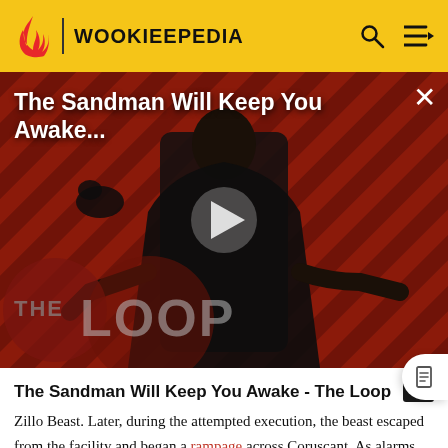WOOKIEEPEDIA
[Figure (screenshot): Video thumbnail for 'The Sandman Will Keep You Awake...' from The Loop, showing a dramatic figure in black against a red diagonal-striped background with a play button overlay]
The Sandman Will Keep You Awake - The Loop
Zillo Beast. Later, during the attempted execution, the beast escaped from the facility and began a rampage across Coruscant. As alarms began wailing across Coruscant, orders were given for the Senate staff to